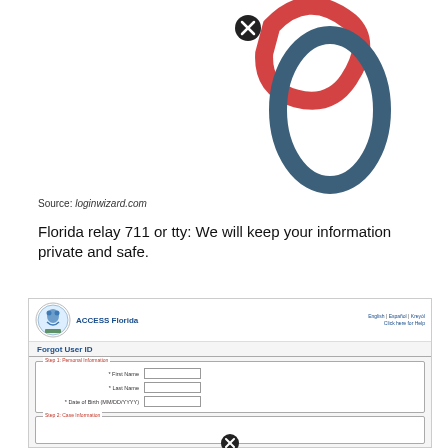[Figure (screenshot): Partial screenshot of a stylized logo with red pen/brush stroke and blue oval loop, with a black X close button]
Source: loginwizard.com
Florida relay 711 or tty: We will keep your information private and safe.
[Figure (screenshot): ACCESS Florida website screenshot showing Forgot User ID form with Step 1: Personal Information (First Name, Last Name, Date of Birth fields) and Step 2: Case Information section]